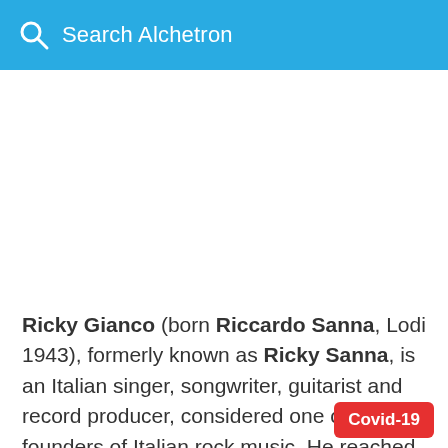Search Alchetron
Ricky Gianco (born Riccardo Sanna, Lodi 1943), formerly known as Ricky Sanna, is an Italian singer, songwriter, guitarist and record producer, considered one of the founders of Italian rock music. He reached the apex of his popula...
Covid-19